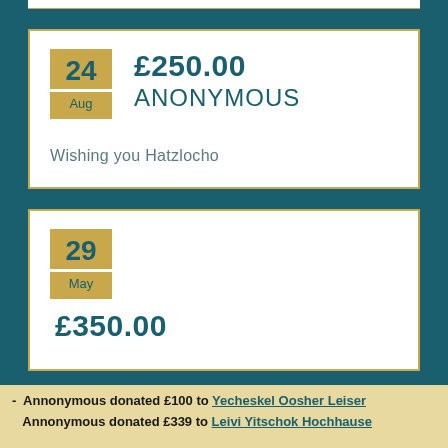£250.00
ANONYMOUS
24 Aug
Wishing you Hatzlocho
29 May
£350.00
Annonymous donated £100 to Yecheskel Oosher Leiser
Annonymous donated £339 to Leivi Yitschok Hochhause